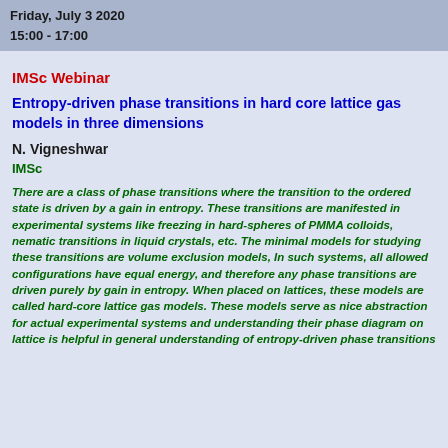Friday, July 3 2020
15:00 - 17:00
IMSc Webinar
Entropy-driven phase transitions in hard core lattice gas models in three dimensions
N. Vigneshwar
IMSc
There are a class of phase transitions where the transition to the ordered state is driven by a gain in entropy. These transitions are manifested in experimental systems like freezing in hard-spheres of PMMA colloids, nematic transitions in liquid crystals, etc. The minimal models for studying these transitions are volume exclusion models, In such systems, all allowed configurations have equal energy, and therefore any phase transitions are driven purely by gain in entropy. When placed on lattices, these models are called hard-core lattice gas models. These models serve as nice abstraction for actual experimental systems and understanding their phase diagram on lattice is helpful in general understanding of entropy-driven phase transitions